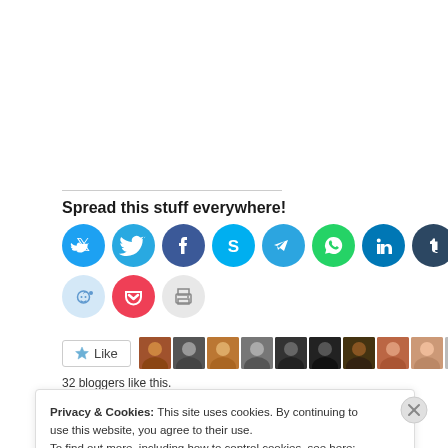Spread this stuff everywhere!
[Figure (infographic): Row of social sharing icon circles: Twitter (cyan), Facebook (blue), Skype (blue), Telegram (blue), WhatsApp (green), LinkedIn (dark blue), Tumblr (dark navy), Pinterest (red), Instagram (grey gradient), Email (light grey). Second row: Reddit (light blue), Pocket (red), Print (light grey).]
[Figure (infographic): WordPress Like button with star icon, followed by a row of 10 small blogger avatar thumbnails.]
32 bloggers like this.
Privacy & Cookies: This site uses cookies. By continuing to use this website, you agree to their use. To find out more, including how to control cookies, see here: Cookie Policy
Close and accept